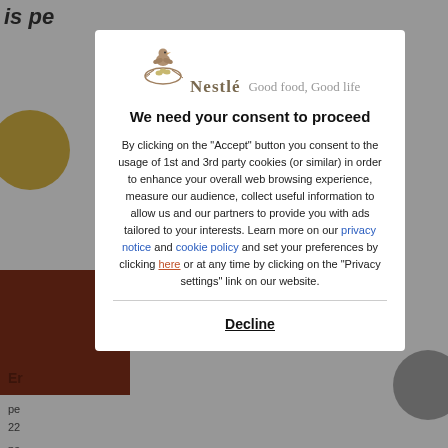[Figure (logo): Nestle logo with bird nest icon and text 'Nestlé Good food, Good life']
We need your consent to proceed
By clicking on the "Accept" button you consent to the usage of 1st and 3rd party cookies (or similar) in order to enhance your overall web browsing experience, measure our audience, collect useful information to allow us and our partners to provide you with ads tailored to your interests. Learn more on our privacy notice and cookie policy and set your preferences by clicking here or at any time by clicking on the "Privacy settings" link on our website.
Decline